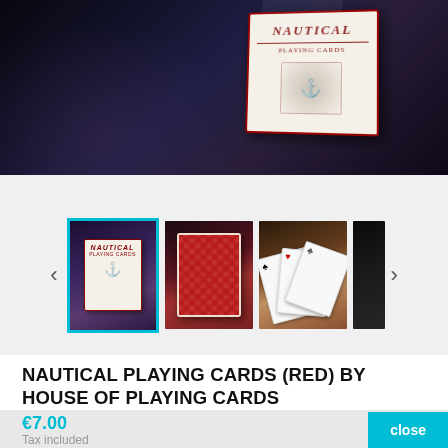[Figure (photo): Top portion of a product page showing Nautical Playing Cards box with dark moody background - the card box is white/cream with red 'NAUTICAL PLAYING CARDS' text in decorative font]
[Figure (photo): Thumbnail strip with 4 product images: (1) selected - dark background with Nautical card box, highlighted with cyan border; (2) red diamond-back cards fanned out; (3) playing cards spread on wooden surface showing spades and hearts; (4) partial dark image, partially cut off. Navigation arrows on left and right.]
NAUTICAL PLAYING CARDS (RED) BY HOUSE OF PLAYING CARDS
€7.00
Tax included
close